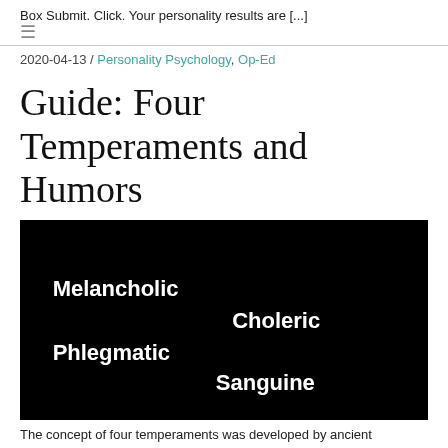Box Submit. Click. Your personality results are [...]
2020-04-13 / Personality Psychology, Op-Ed
Guide: Four Temperaments and Humors
[Figure (illustration): Black background image with four temperament names in white bold text arranged in a staggered layout: Melancholic (upper left), Choleric (middle right), Phlegmatic (lower left), Sanguine (lower right)]
The concept of four temperaments was developed by ancient